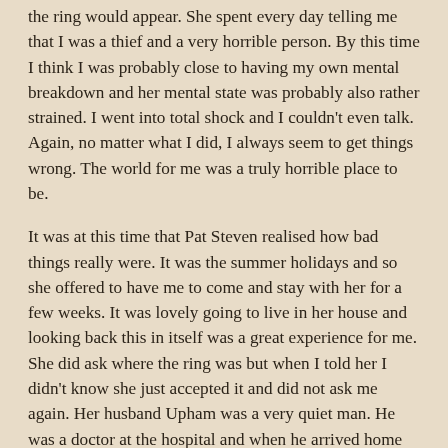the ring would appear.  She spent every day telling me that I was a thief and a very horrible person.  By this time I think I was probably close to having my own mental breakdown and her mental state was probably also rather strained.  I went into total shock and I couldn't even talk.  Again, no matter what I did, I always seem to get things wrong.  The world for me was a truly horrible place to be.
It was at this time that Pat Steven realised how bad things really were.  It was the summer holidays and so she offered to have me to come and stay with her for a few weeks.  It was lovely going to live in her house and looking back this in itself was a great experience for me.  She did ask where the ring was but when I told her I didn't know she just accepted it and did not ask me again.  Her husband Upham was a very quiet man.  He was a doctor at the hospital and when he arrived home late afternoon we would all have dinner together and then most evenings he would sit in his chair and read.